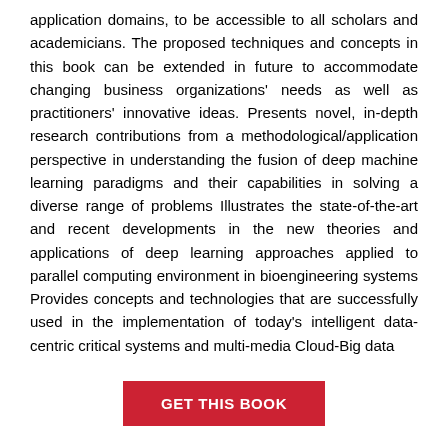application domains, to be accessible to all scholars and academicians. The proposed techniques and concepts in this book can be extended in future to accommodate changing business organizations' needs as well as practitioners' innovative ideas. Presents novel, in-depth research contributions from a methodological/application perspective in understanding the fusion of deep machine learning paradigms and their capabilities in solving a diverse range of problems Illustrates the state-of-the-art and recent developments in the new theories and applications of deep learning approaches applied to parallel computing environment in bioengineering systems Provides concepts and technologies that are successfully used in the implementation of today's intelligent data-centric critical systems and multi-media Cloud-Big data
GET THIS BOOK